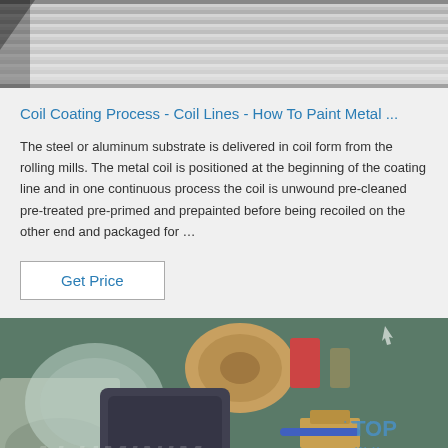[Figure (photo): Top portion of stacked metal sheets or coils, gray tones, industrial setting]
Coil Coating Process - Coil Lines - How To Paint Metal ...
The steel or aluminum substrate is delivered in coil form from the rolling mills. The metal coil is positioned at the beginning of the coating line and in one continuous process the coil is unwound pre-cleaned pre-treated pre-primed and prepainted before being recoiled on the other end and packaged for …
[Figure (photo): Industrial coil coating equipment with plastic-wrapped coils in a factory setting, teal/green background, TOP logo watermark visible]